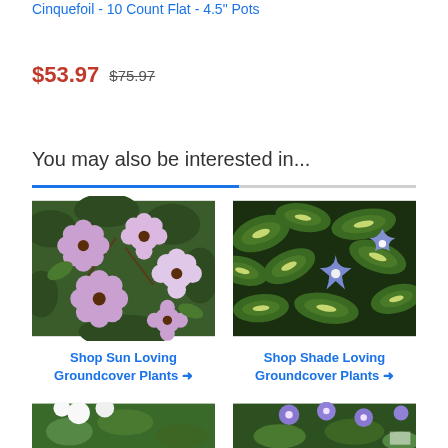Cinquefoil - 10 Count Flat - 4.5" Pots
$53.97  $75.97
You may also be interested in...
[Figure (photo): Purple flowering groundcover plant with green foliage]
Shop Sun Loving Groundcover Plants →
[Figure (photo): Variegated leaf groundcover with purple star-shaped flowers]
Shop Shade Loving Groundcover Plants →
[Figure (photo): White flowering groundcover plant, partially visible]
[Figure (photo): Purple flowering groundcover plant, partially visible]